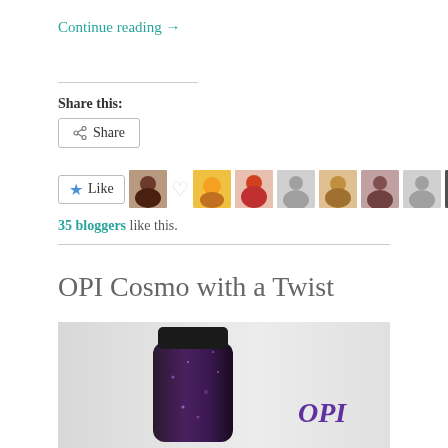Continue reading →
Share this:
[Figure (other): Share button with share icon]
[Figure (other): Like button with star icon, heart icon, and row of blogger avatars]
35 bloggers like this.
OPI Cosmo with a Twist
[Figure (photo): Photo of a dark purple glittery nail polish bottle with OPI branding on a light background]